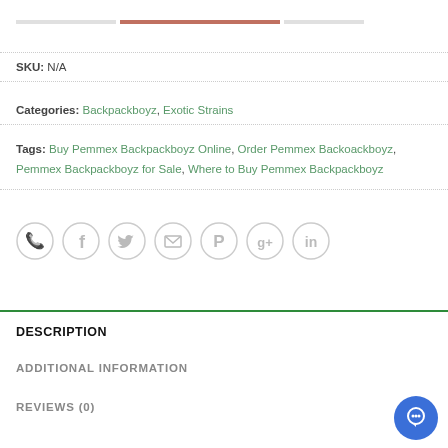SKU: N/A
Categories: Backpackboyz, Exotic Strains
Tags: Buy Pemmex Backpackboyz Online, Order Pemmex Backoackboyz, Pemmex Backpackboyz for Sale, Where to Buy Pemmex Backpackboyz
[Figure (other): Social share icons: phone, facebook, twitter, email, pinterest, google+, linkedin]
DESCRIPTION
ADDITIONAL INFORMATION
REVIEWS (0)
[Figure (other): Blue circular chat bubble button in bottom right corner]